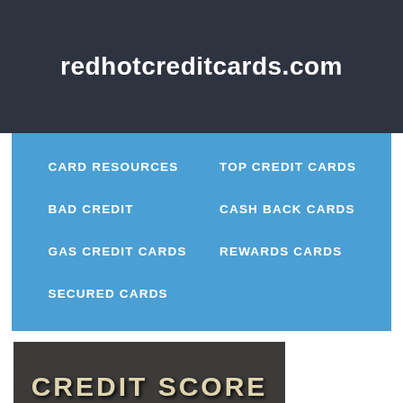redhotcreditcards.com
CARD RESOURCES
TOP CREDIT CARDS
BAD CREDIT
CASH BACK CARDS
GAS CREDIT CARDS
REWARDS CARDS
SECURED CARDS
[Figure (photo): Chalkboard with 'CREDIT SCORE' written in chalk-style text]